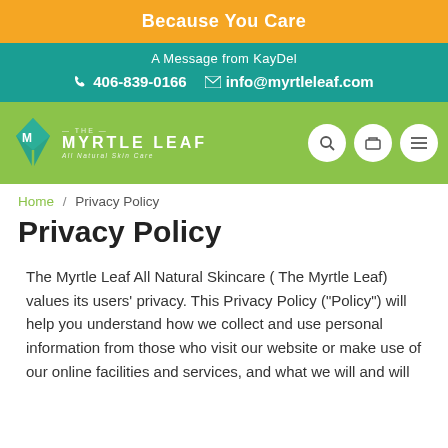Because You Care
A Message from KayDel
406-839-0166  info@myrtleleaf.com
[Figure (logo): The Myrtle Leaf All Natural Skin Care logo with green navigation bar and search, cart, menu icons]
Home / Privacy Policy
Privacy Policy
The Myrtle Leaf All Natural Skincare ( The Myrtle Leaf) values its users' privacy. This Privacy Policy ("Policy") will help you understand how we collect and use personal information from those who visit our website or make use of our online facilities and services, and what we will and will